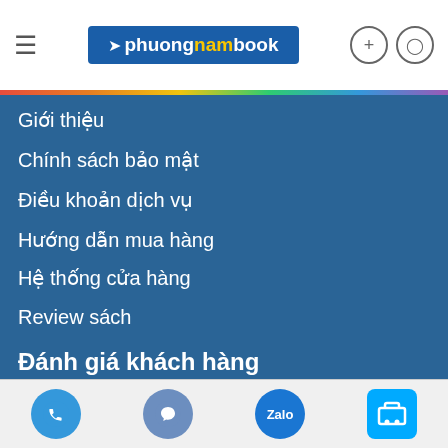phuongnambook header with hamburger menu, logo, search and user icons
Giới thiệu
Chính sách bảo mật
Điều khoản dịch vụ
Hướng dẫn mua hàng
Hệ thống cửa hàng
Review sách
Đánh giá khách hàng
Hương Suri
Là một người khá kỹ tính, tôi luôn luôn lựa chọn những sản phẩm chất lượng tốt nhất. Và đây là nơi t